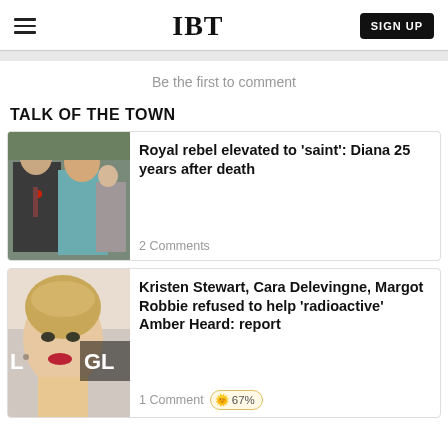IBT | SIGN UP
Be the first to comment
TALK OF THE TOWN
[Figure (photo): Photo of Prince Charles and Princess Diana at a public event]
Royal rebel elevated to 'saint': Diana 25 years after death
2 Comments
[Figure (photo): Photo of a blonde woman at a red carpet event with 'GL' text visible]
Kristen Stewart, Cara Delevingne, Margot Robbie refused to help 'radioactive' Amber Heard: report
1 Comment | 67%